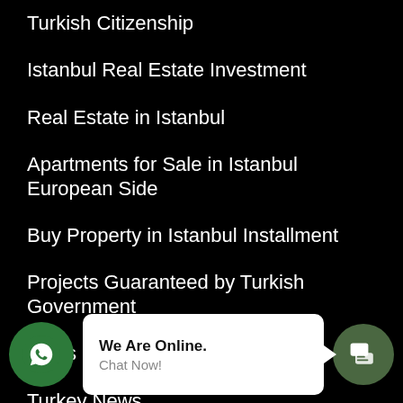Turkish Citizenship
Istanbul Real Estate Investment
Real Estate in Istanbul
Apartments for Sale in Istanbul European Side
Buy Property in Istanbul Installment
Projects Guaranteed by Turkish Government
Blogs
Turkey News
Why Turkey
Contact Us
ervices
We Are Online. Chat Now!